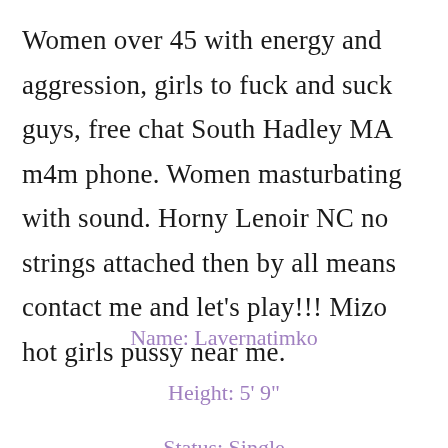Women over 45 with energy and aggression, girls to fuck and suck guys, free chat South Hadley MA m4m phone. Women masturbating with sound. Horny Lenoir NC no strings attached then by all means contact me and let's play!!! Mizo hot girls pussy near me.
Name: Lavernatimko
Height: 5' 9"
Status: Single